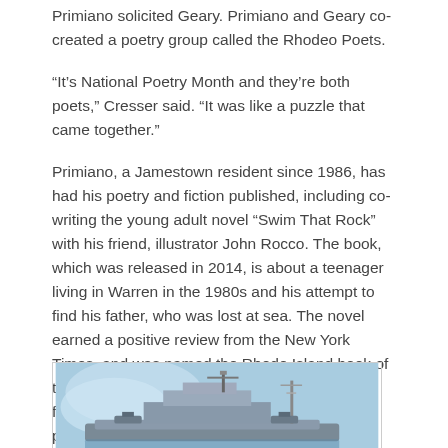Primiano solicited Geary. Primiano and Geary co-created a poetry group called the Rhodeo Poets.
“It’s National Poetry Month and they’re both poets,” Cresser said. “It was like a puzzle that came together.”
Primiano, a Jamestown resident since 1986, has had his poetry and fiction published, including co-writing the young adult novel “Swim That Rock” with his friend, illustrator John Rocco. The book, which was released in 2014, is about a teenager living in Warren in the 1980s and his attempt to find his father, who was lost at sea. The novel earned a positive review from the New York Times, and was named the Rhode Island book of the year. Primiano has since finished two more full-length manuscripts that are awaiting publication.
[Figure (photo): Photograph of a naval warship with masts and military equipment, against a blue sky background.]